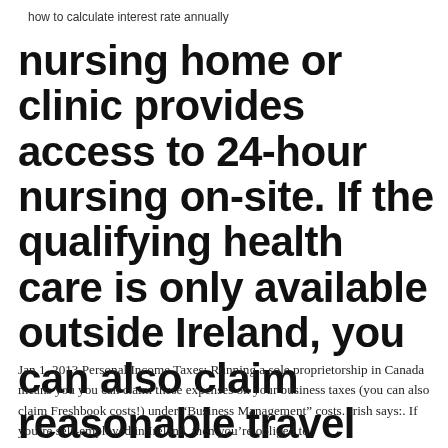how to calculate interest rate annually
nursing home or clinic provides access to 24-hour nursing on-site. If the qualifying health care is only available outside Ireland, you can also claim reasonable travel and accommodation expenses.
Jan 1, 2013 Personal Income Taxes: Running a sole proprietorship in Canada means you you can claim these expenses on your business taxes (you can also claim Freshbook costs!) under “Business Management” costs. Irish says:. If you're self-employed in Ireland, then you're obliged to